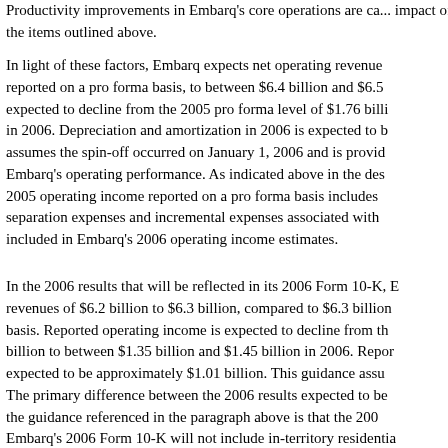Productivity improvements in Embarq's core operations are ca... impact of the items outlined above.
In light of these factors, Embarq expects net operating revenue... reported on a pro forma basis, to between $6.4 billion and $6.5... expected to decline from the 2005 pro forma level of $1.76 billi... in 2006. Depreciation and amortization in 2006 is expected to b... assumes the spin-off occurred on January 1, 2006 and is provid... Embarq's operating performance. As indicated above in the des... 2005 operating income reported on a pro forma basis includes... separation expenses and incremental expenses associated with... included in Embarq's 2006 operating income estimates.
In the 2006 results that will be reflected in its 2006 Form 10-K, ... revenues of $6.2 billion to $6.3 billion, compared to $6.3 billion... basis. Reported operating income is expected to decline from th... billion to between $1.35 billion and $1.45 billion in 2006. Repor... expected to be approximately $1.01 billion. This guidance assu... The primary difference between the 2006 results expected to b... the guidance referenced in the paragraph above is that the 200... Embarq's 2006 Form 10-K will not include in-territory residentia... periods prior to and including May 17, 2006.